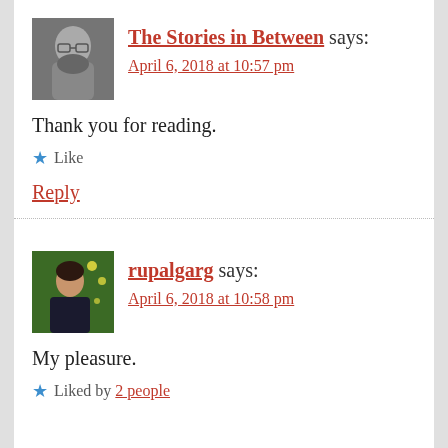The Stories in Between says:
April 6, 2018 at 10:57 pm
Thank you for reading.
Like
Reply
rupalgarg says:
April 6, 2018 at 10:58 pm
My pleasure.
Liked by 2 people